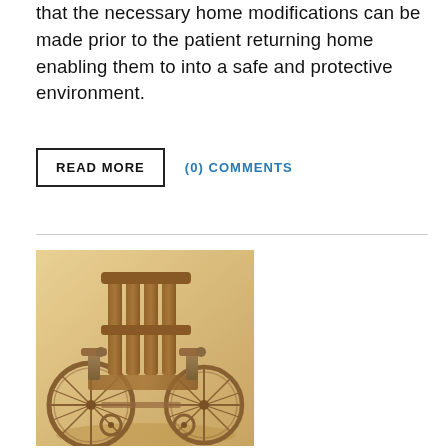that the necessary home modifications can be made prior to the patient returning home enabling them to into a safe and protective environment.
READ MORE   (0) COMMENTS
[Figure (photo): Sepia-toned photograph of an antique wooden wheelchair with large spoked wheels, photographed from a three-quarter front angle.]